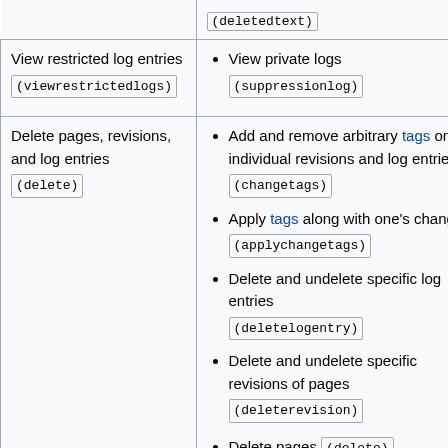| Permission | Allows |
| --- | --- |
| (deletedtext) |  |
| View restricted log entries (viewrestrictedlogs) | View private logs (suppressionlog) |
| Delete pages, revisions, and log entries (delete) | Add and remove arbitrary tags on individual revisions and log entries (changetags)
Apply tags along with one's changes (applychangetags)
Delete and undelete specific log entries (deletelogentry)
Delete and undelete specific revisions of pages (deleterevision)
Delete pages (delete)
Delete pages with large |